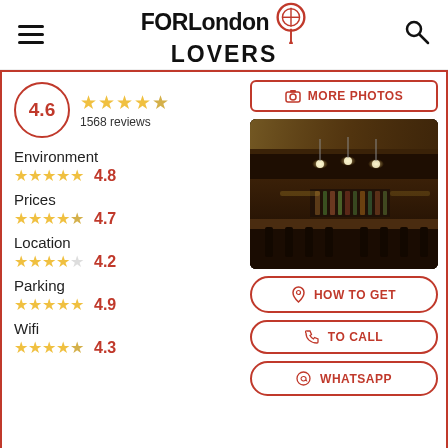FORLondon LOVERS
4.6 · 1568 reviews
[Figure (other): Camera icon button labeled MORE PHOTOS with red border]
[Figure (photo): Interior of a dimly lit bar/restaurant with warm lighting, ornate ceiling, bar counter with stools, bottles on shelves]
Environment ★★★★★ 4.8
Prices ★★★★½ 4.7
Location ★★★★☆ 4.2
Parking ★★★★★ 4.9
Wifi ★★★★☆ 4.3
HOW TO GET
TO CALL
WHATSAPP